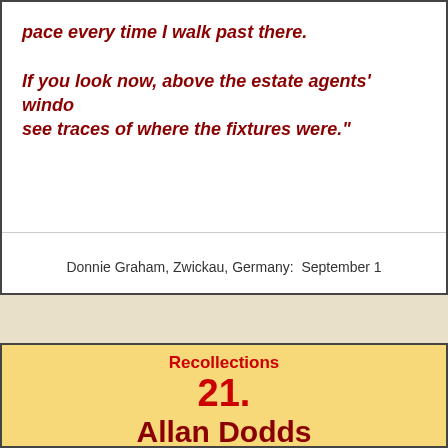pace every time I walk past there.

If you look now, above the estate agents' windo see traces of where the fixtures were."
Donnie Graham, Zwickau, Germany:  September 1
Recollections
21.
Allan Dodds
Nottingham, Nottinghamshire, En